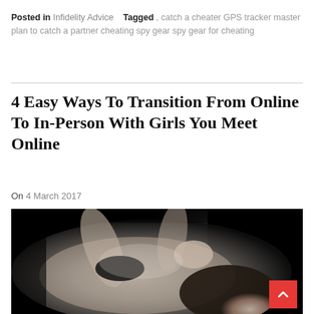Posted in Infidelity Advice   Tagged , catch a cheater GPS tracker master plan to catch a partner cheating spy gear spy gear for cheating
4 Easy Ways To Transition From Online To In-Person With Girls You Meet Online
On 4 March 2017
[Figure (photo): Black and white photograph of a man and woman in an intimate pose, lying down together]